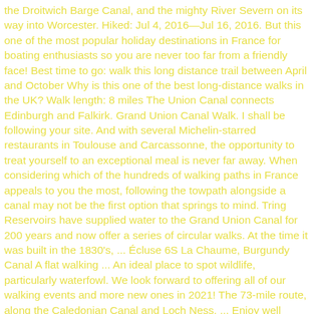the Droitwich Barge Canal, and the mighty River Severn on its way into Worcester. Hiked: Jul 4, 2016—Jul 16, 2016. But this one of the most popular holiday destinations in France for boating enthusiasts so you are never too far from a friendly face! Best time to go: walk this long distance trail between April and October Why is this one of the best long-distance walks in the UK? Walk length: 8 miles The Union Canal connects Edinburgh and Falkirk. Grand Union Canal Walk. I shall be following your site. And with several Michelin-starred restaurants in Toulouse and Carcassonne, the opportunity to treat yourself to an exceptional meal is never far away. When considering which of the hundreds of walking paths in France appeals to you the most, following the towpath alongside a canal may not be the first option that springs to mind. Tring Reservoirs have supplied water to the Grand Union Canal for 200 years and now offer a series of circular walks. At the time it was built in the 1830's, ... Écluse 6S La Chaume, Burgundy Canal A flat walking ... An ideal place to spot wildlife, particularly waterfowl. We look forward to offering all of our walking events and more new ones in 2021! The 73-mile route, along the Caledonian Canal and Loch Ness, ... Enjoy well maintained paths and a traffic free atmosphere, ideal whether you choose to run or walk. A charming waterside community at the junction of the Macclesfield and Peak Forest Canals. The Grand Canal Way is a rarity in Ireland: a long-distance walk that's almost entirely off-road,